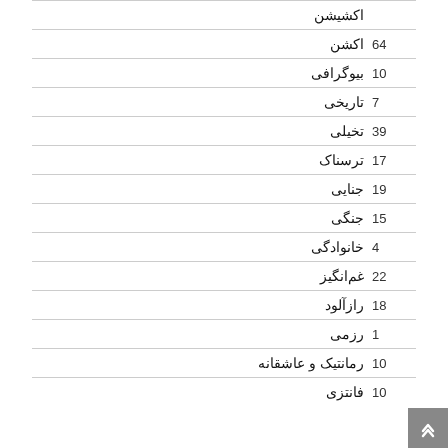| تعداد | ژانر |
| --- | --- |
|  | اکشیشن |
| 64 | اکشن |
| 10 | بیوگرافی |
| 7 | تاریخی |
| 39 | تخیلی |
| 17 | ترسناک |
| 19 | جنایی |
| 15 | جنگی |
| 4 | خانوادگی |
| 22 | غم‌انگیز |
| 18 | راز‌آلود |
| 1 | رزمی |
| 10 | رمانتیک و عاشقانه |
| 10 | فانتزی |